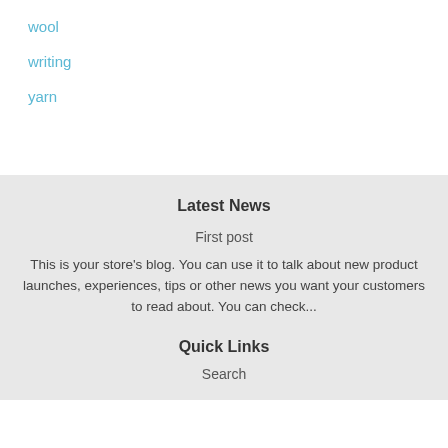wool
writing
yarn
Latest News
First post
This is your store's blog. You can use it to talk about new product launches, experiences, tips or other news you want your customers to read about. You can check...
Quick Links
Search